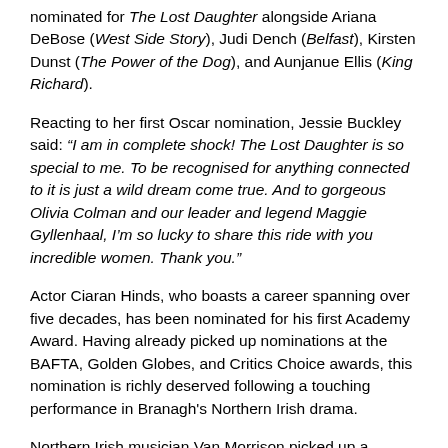nominated for The Lost Daughter alongside Ariana DeBose (West Side Story), Judi Dench (Belfast), Kirsten Dunst (The Power of the Dog), and Aunjanue Ellis (King Richard).
Reacting to her first Oscar nomination, Jessie Buckley said: "I am in complete shock! The Lost Daughter is so special to me. To be recognised for anything connected to it is just a wild dream come true. And to gorgeous Olivia Colman and our leader and legend Maggie Gyllenhaal, I'm so lucky to share this ride with you incredible women. Thank you."
Actor Ciaran Hinds, who boasts a career spanning over five decades, has been nominated for his first Academy Award. Having already picked up nominations at the BAFTA, Golden Globes, and Critics Choice awards, this nomination is richly deserved following a touching performance in Branagh's Northern Irish drama.
Northern Irish musician Van Morrison picked up a nomination for Best Original Song. Morrison's “Down to Joy”, which featured in Belfast, was nominated along with “Be Alive” — Beyoncé Knowles-Carter & Darius Scott (King Richard), “Dos Oruguitas” — Lin-Manuel Miranda (Encanto), “No Time to Die”